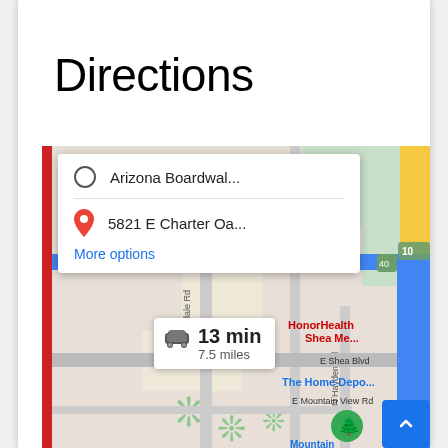Directions
[Figure (map): Google Maps screenshot showing directions from Arizona Boardwal... to 5821 E Charter Oa... in Scottsdale area. Map shows E Cactus Rd, Scottsdale Rd, E Shea Blvd, E Mountain View Rd, N Hayden Rd. Duration badge shows 13 min / 7.5 miles by car. Landmarks include HonorHealth Shea Medical Center, The Home Depot, Mountain View Park. Red route bar on left edge. Direction input card showing origin and destination with More options link.]